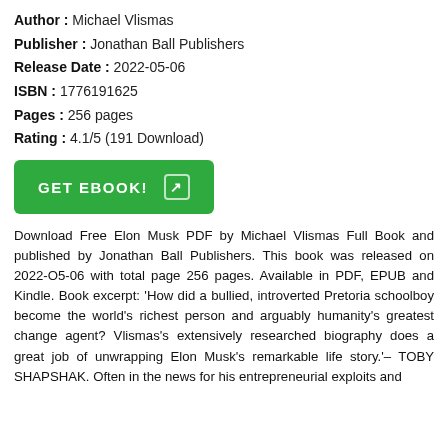Author : Michael Vlismas
Publisher : Jonathan Ball Publishers
Release Date : 2022-05-06
ISBN : 1776191625
Pages : 256 pages
Rating : 4.1/5 (191 Download)
[Figure (other): Green GET EBOOK! button with arrow icon]
Download Free Elon Musk PDF by Michael Vlismas Full Book and published by Jonathan Ball Publishers. This book was released on 2022-05-06 with total page 256 pages. Available in PDF, EPUB and Kindle. Book excerpt: 'How did a bullied, introverted Pretoria schoolboy become the world's richest person and arguably humanity's greatest change agent? Vlismas's extensively researched biography does a great job of unwrapping Elon Musk's remarkable life story.'– TOBY SHAPSHAK. Often in the news for his entrepreneurial exploits and